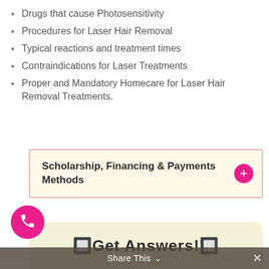Drugs that cause Photosensitivity
Procedures for Laser Hair Removal
Typical reactions and treatment times
Contraindications for Laser Treatments
Proper and Mandatory Homecare for Laser Hair Removal Treatments.
Scholarship, Financing & Payments Methods
🔲Get Answers!🔲
Share This